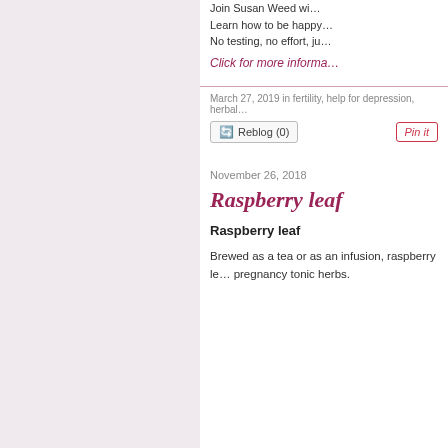Join Susan Weed wi... Learn how to be happy... No testing, no effort, ju...
Click for more informa...
March 27, 2019 in fertility, help for depression, herbal...
Reblog (0)   Pin it
November 26, 2018
Raspberry leaf
Raspberry leaf
Brewed as a tea or as an infusion, raspberry le... pregnancy tonic herbs.